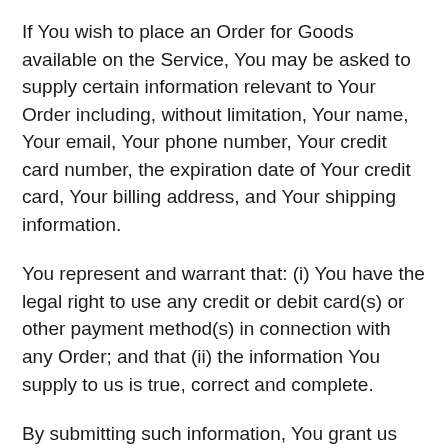If You wish to place an Order for Goods available on the Service, You may be asked to supply certain information relevant to Your Order including, without limitation, Your name, Your email, Your phone number, Your credit card number, the expiration date of Your credit card, Your billing address, and Your shipping information.
You represent and warrant that: (i) You have the legal right to use any credit or debit card(s) or other payment method(s) in connection with any Order; and that (ii) the information You supply to us is true, correct and complete.
By submitting such information, You grant us the right to provide the information to payment processing third parties for purposes of facilitating the completion of Your Order.